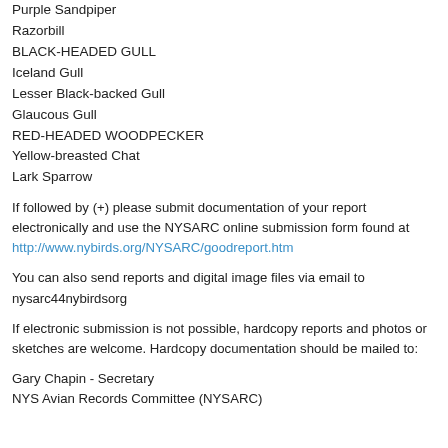Purple Sandpiper
Razorbill
BLACK-HEADED GULL
Iceland Gull
Lesser Black-backed Gull
Glaucous Gull
RED-HEADED WOODPECKER
Yellow-breasted Chat
Lark Sparrow
If followed by (+) please submit documentation of your report electronically and use the NYSARC online submission form found at http://www.nybirds.org/NYSARC/goodreport.htm
You can also send reports and digital image files via email to nysarc44nybirdsorg
If electronic submission is not possible, hardcopy reports and photos or sketches are welcome. Hardcopy documentation should be mailed to:
Gary Chapin - Secretary
NYS Avian Records Committee (NYSARC)